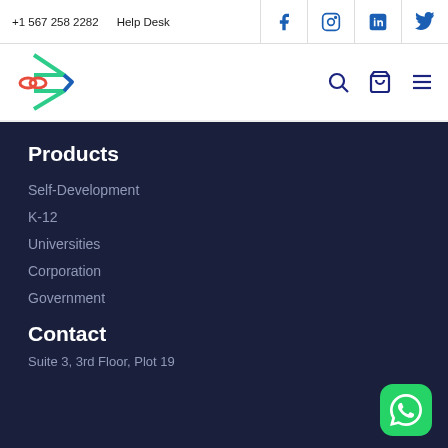+1 567 258 2282   Help Desk
[Figure (logo): Company logo with infinity symbol and play button arrow in teal/green/red colors]
Products
Self-Development
K-12
Universities
Corporation
Government
Contact
Suite 3, 3rd Floor, Plot 19